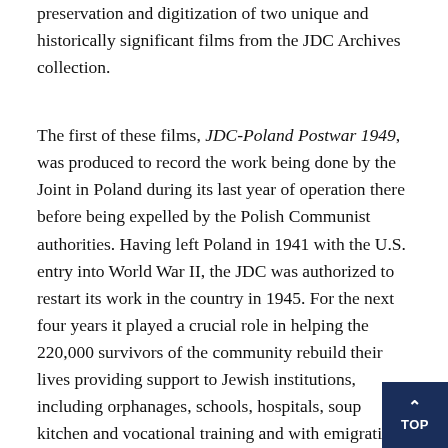preservation and digitization of two unique and historically significant films from the JDC Archives collection.
The first of these films, JDC-Poland Postwar 1949, was produced to record the work being done by the Joint in Poland during its last year of operation there before being expelled by the Polish Communist authorities. Having left Poland in 1941 with the U.S. entry into World War II, the JDC was authorized to restart its work in the country in 1945. For the next four years it played a crucial role in helping the 220,000 survivors of the community rebuild their lives providing support to Jewish institutions, including orphanages, schools, hospitals, soup kitchen and vocational training and with emigration assistance. Conceived as having narration added later, JDC-Poland Postwar 1949, includes scenes of the life of children in the